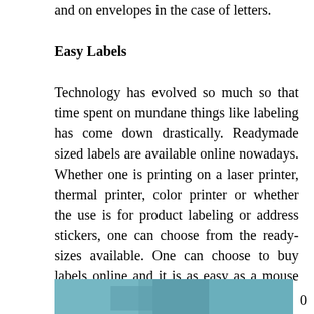and on envelopes in the case of letters.
Easy Labels
Technology has evolved so much so that time spent on mundane things like labeling has come down drastically. Readymade sized labels are available online nowadays. Whether one is printing on a laser printer, thermal printer, color printer or whether the use is for product labeling or address stickers, one can choose from the ready-sizes available. One can choose to buy labels online and it is as easy as a mouse click only.
[Figure (photo): Partial photo strip visible at the bottom of the page, appearing to show a person or scene with teal/blue tones.]